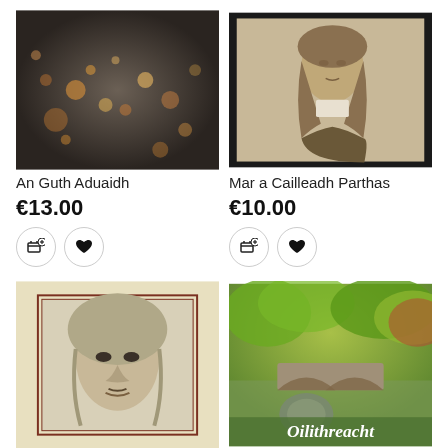[Figure (photo): Book cover for 'An Guth Aduaidh' showing dark bokeh lights on water]
[Figure (photo): Book cover for 'Mar a Cailleadh Parthas' showing a pencil portrait of a historical figure in a dark frame]
An Guth Aduaidh
Mar a Cailleadh Parthas
€13.00
€10.00
[Figure (photo): Book cover showing a pencil drawing of a face on a pale yellow background with a dark red border]
[Figure (photo): Book cover for 'Oilithreacht' showing a garden scene with a bridge and greenery]